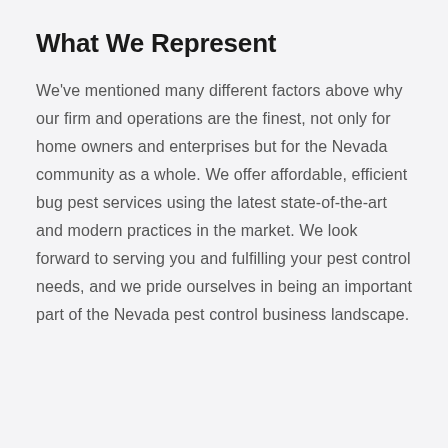What We Represent
We've mentioned many different factors above why our firm and operations are the finest, not only for home owners and enterprises but for the Nevada community as a whole. We offer affordable, efficient bug pest services using the latest state-of-the-art and modern practices in the market. We look forward to serving you and fulfilling your pest control needs, and we pride ourselves in being an important part of the Nevada pest control business landscape.